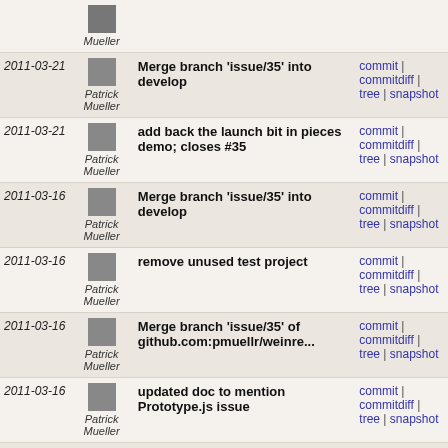| Date | Author | Message | Links |
| --- | --- | --- | --- |
|  | Patrick Mueller | Merge branch 'issue/35' into develop | commit | commitdiff | tree | snapshot |
| 2011-03-21 | Patrick Mueller | Merge branch 'issue/35' into develop | commit | commitdiff | tree | snapshot |
| 2011-03-21 | Patrick Mueller | add back the launch bit in pieces demo; closes #35 | commit | commitdiff | tree | snapshot |
| 2011-03-16 | Patrick Mueller | Merge branch 'issue/35' into develop | commit | commitdiff | tree | snapshot |
| 2011-03-16 | Patrick Mueller | remove unused test project | commit | commitdiff | tree | snapshot |
| 2011-03-16 | Patrick Mueller | Merge branch 'issue/35' of github.com:pmuellr/weinre... | commit | commitdiff | tree | snapshot |
| 2011-03-16 | Patrick Mueller | updated doc to mention Prototype.js issue | commit | commitdiff | tree | snapshot |
| 2011-03-15 | Patrick Mueller | check for bad versions of Prototype.js; closes #35 | commit | commitdiff | tree | snapshot |
| 2011-03-15 | Patrick Mueller | initial set up of test case for issue 35 | commit | commitdiff | tree | snapshot |
| 2011-03-12 | Patrick | Merge branch 'release-1.2.0' into develop | commit | commitdiff | tree | snapshot |